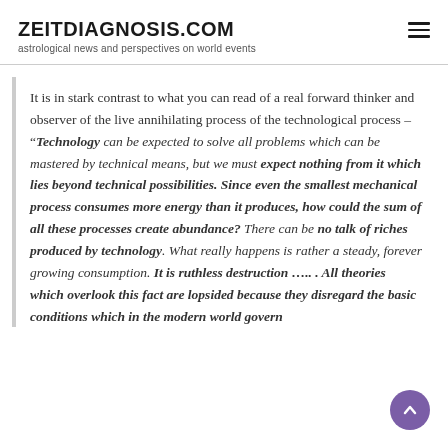ZEITDIAGNOSIS.COM
astrological news and perspectives on world events
It is in stark contrast to what you can read of a real forward thinker and observer of the live annihilating process of the technological process – "Technology can be expected to solve all problems which can be mastered by technical means, but we must expect nothing from it which lies beyond technical possibilities. Since even the smallest mechanical process consumes more energy than it produces, how could the sum of all these processes create abundance? There can be no talk of riches produced by technology. What really happens is rather a steady, forever growing consumption. It is ruthless destruction ….. . All theories which overlook this fact are lopsided because they disregard the basic conditions which in the modern world govern